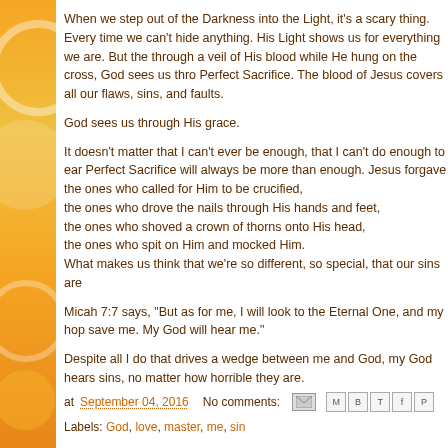When we step out of the Darkness into the Light, it's a scary thing. Every time we can't hide anything. His Light shows us for everything we are. But the through a veil of His blood while He hung on the cross, God sees us through His Perfect Sacrifice. The blood of Jesus covers all our flaws, sins, and faults.
God sees us through His grace.
It doesn't matter that I can't ever be enough, that I can't do enough to earn... Perfect Sacrifice will always be more than enough. Jesus forgave the ones who called for Him to be crucified, the ones who drove the nails through His hands and feet, the ones who shoved a crown of thorns onto His head, the ones who spit on Him and mocked Him. What makes us think that we're so different, so special, that our sins are
Micah 7:7 says, "But as for me, I will look to the Eternal One, and my hope will save me. My God will hear me."
Despite all I do that drives a wedge between me and God, my God hears my sins, no matter how horrible they are.
at September 04, 2016   No comments:
Labels: God, love, master, me, sin